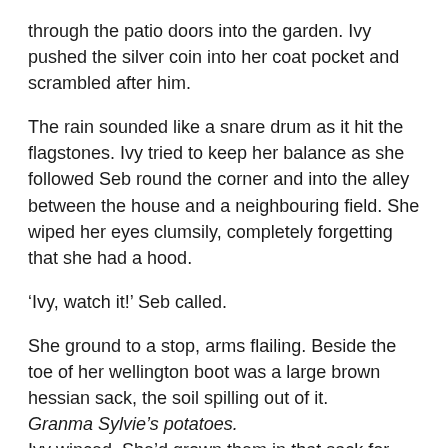through the patio doors into the garden. Ivy pushed the silver coin into her coat pocket and scrambled after him.
The rain sounded like a snare drum as it hit the flagstones. Ivy tried to keep her balance as she followed Seb round the corner and into the alley between the house and a neighbouring field. She wiped her eyes clumsily, completely forgetting that she had a hood.
‘Ivy, watch it!’ Seb called.
She ground to a stop, arms flailing. Beside the toe of her wellington boot was a large brown hessian sack, the soil spilling out of it.
Granma Sylvie’s potatoes.
Ivy winced. She’d grown them in that sack for ever.
‘Sorry,’ she whispered.
Carefully she hopped over it and inched towards Seb, who was crouching down next to the garage at the front of the house. The rain chimed off its corrugated-iron roof, masking the sound of her footsteps. She tucked herself